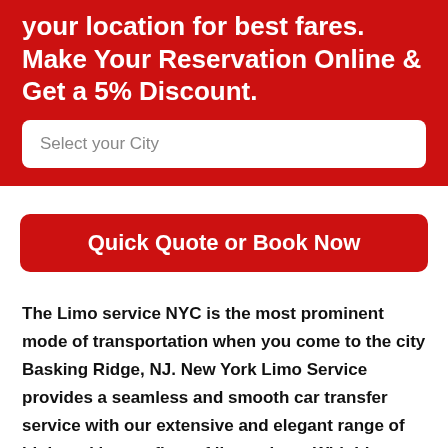your location for best fares. Make Your Reservation Online & Get a 5% Discount.
Select your City
Quick Quote or Book Now
The Limo service NYC is the most prominent mode of transportation when you come to the city Basking Ridge, NJ. New York Limo Service provides a seamless and smooth car transfer service with our extensive and elegant range of high-end luxury fleet of limousines. With Limo service New York at your service, we assure you to get you the most extraordinary, sophisticated, and enticing lifetime